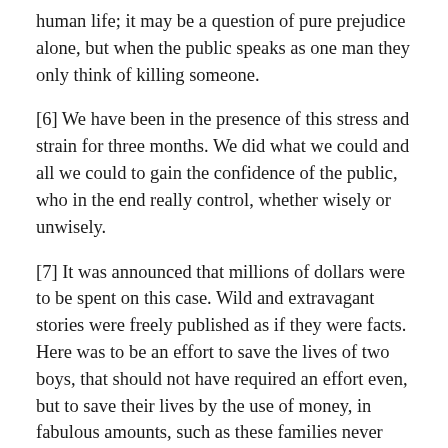human life; it may be a question of pure prejudice alone, but when the public speaks as one man they only think of killing someone.
[6] We have been in the presence of this stress and strain for three months. We did what we could and all we could to gain the confidence of the public, who in the end really control, whether wisely or unwisely.
[7] It was announced that millions of dollars were to be spent on this case. Wild and extravagant stories were freely published as if they were facts. Here was to be an effort to save the lives of two boys, that should not have required an effort even, but to save their lives by the use of money, in fabulous amounts, such as these families never had nor could have.
[8] We announced to the public that no excessive use of money would be made in this case, neither for lawyers for psychiatrists nor otherwise. We do